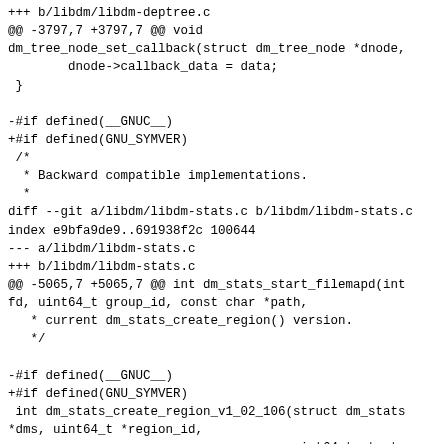+++ b/libdm/libdm-deptree.c
@@ -3797,7 +3797,7 @@ void
dm_tree_node_set_callback(struct dm_tree_node *dnode,
        dnode->callback_data = data;
 }

-#if defined(__GNUC__)
+#if defined(GNU_SYMVER)
 /*
  * Backward compatible implementations.
  *
diff --git a/libdm/libdm-stats.c b/libdm/libdm-stats.c
index e9bfa9de9..691938f2c 100644
--- a/libdm/libdm-stats.c
+++ b/libdm/libdm-stats.c
@@ -5065,7 +5065,7 @@ int dm_stats_start_filemapd(int
fd, uint64_t group_id, const char *path,
   * current dm_stats_create_region() version.
   */

-#if defined(__GNUC__)
+#if defined(GNU_SYMVER)
 int dm_stats_create_region_v1_02_106(struct dm_stats
*dms, uint64_t *region_id,
                                      uint64_t start,
uint64_t len, int64_t step,
                                      int precise, const
char *program_id,
--
2.18.0